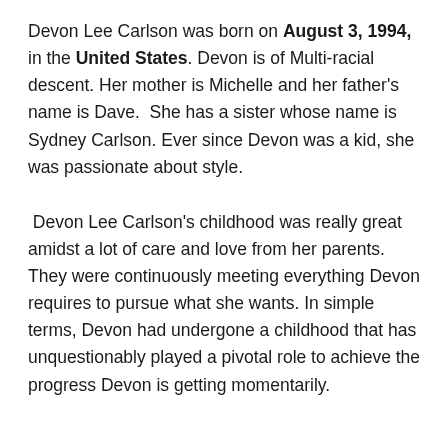Devon Lee Carlson was born on August 3, 1994, in the United States. Devon is of Multi-racial descent. Her mother is Michelle and her father's name is Dave.  She has a sister whose name is Sydney Carlson. Ever since Devon was a kid, she was passionate about style.
Devon Lee Carlson's childhood was really great amidst a lot of care and love from her parents. They were continuously meeting everything Devon requires to pursue what she wants. In simple terms, Devon had undergone a childhood that has unquestionably played a pivotal role to achieve the progress Devon is getting momentarily.